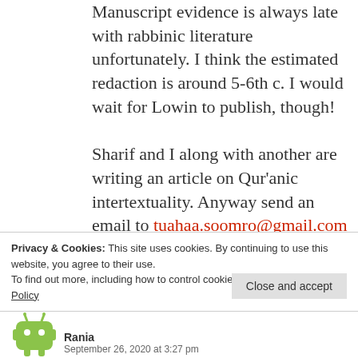Manuscript evidence is always late with rabbinic literature unfortunately. I think the estimated redaction is around 5-6th c. I would wait for Lowin to publish, though!

Sharif and I along with another are writing an article on Qur'anic intertextuality. Anyway send an email to tuahaa.soomro@gmail.com
Privacy & Cookies: This site uses cookies. By continuing to use this website, you agree to their use.
To find out more, including how to control cookies, see here: Cookie Policy
Close and accept
[Figure (illustration): Green robot/android avatar icon]
Rania
September 26, 2020 at 3:27 pm